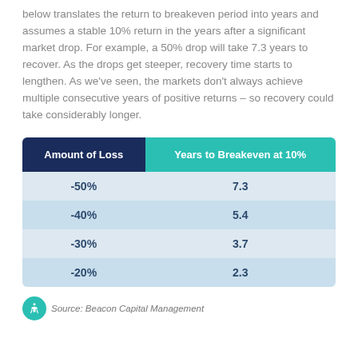below translates the return to breakeven period into years and assumes a stable 10% return in the years after a significant market drop. For example, a 50% drop will take 7.3 years to recover. As the drops get steeper, recovery time starts to lengthen. As we've seen, the markets don't always achieve multiple consecutive years of positive returns – so recovery could take considerably longer.
| Amount of Loss | Years to Breakeven at 10% |
| --- | --- |
| -50% | 7.3 |
| -40% | 5.4 |
| -30% | 3.7 |
| -20% | 2.3 |
Source: Beacon Capital Management